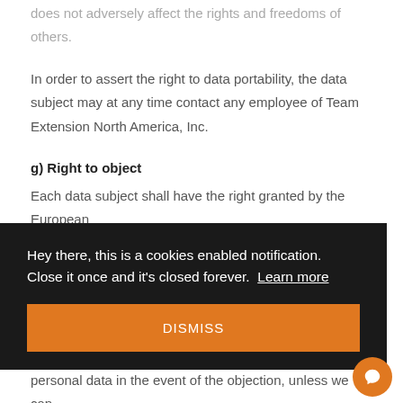does not adversely affect the rights and freedoms of others.
In order to assert the right to data portability, the data subject may at any time contact any employee of Team Extension North America, Inc.
g) Right to object
Each data subject shall have the right granted by the European ar ning f the ons. the personal data in the event of the objection, unless we can
[Figure (screenshot): Cookie consent notification overlay with dark background. Text reads: 'Hey there, this is a cookies enabled notification. Close it once and it's closed forever. Learn more' with an orange DISMISS button.]